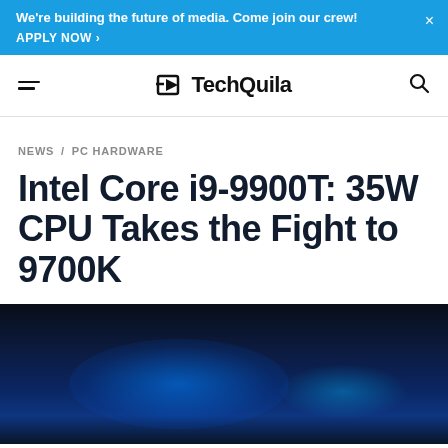We're building the future of media. Come join our crew! APPLY NOW >
TechQuila
NEWS / PC HARDWARE
Intel Core i9-9900T: 35W CPU Takes the Fight to 9700K
[Figure (photo): Dark blue glowing circuit board or tech background image]